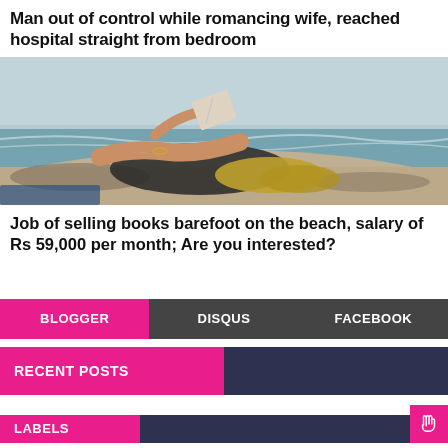Man out of control while romancing wife, reached hospital straight from bedroom
[Figure (photo): Woman lying on beach reading a book, wearing black swimwear, with ocean waves in background]
Job of selling books barefoot on the beach, salary of Rs 59,000 per month; Are you interested?
BLOGGER | DISQUS | FACEBOOK
RECENT POSTS
LABELS